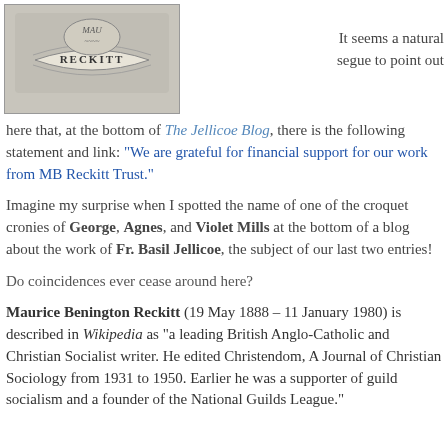[Figure (photo): Black and white photo/illustration showing a banner or bookplate with the name RECKITT]
It seems a natural segue to point out here that, at the bottom of The Jellicoe Blog, there is the following statement and link: "We are grateful for financial support for our work from MB Reckitt Trust."
Imagine my surprise when I spotted the name of one of the croquet cronies of George, Agnes, and Violet Mills at the bottom of a blog about the work of Fr. Basil Jellicoe, the subject of our last two entries!
Do coincidences ever cease around here?
Maurice Benington Reckitt (19 May 1888 – 11 January 1980) is described in Wikipedia as "a leading British Anglo-Catholic and Christian Socialist writer. He edited Christendom, A Journal of Christian Sociology from 1931 to 1950. Earlier he was a supporter of guild socialism and a founder of the National Guilds League."